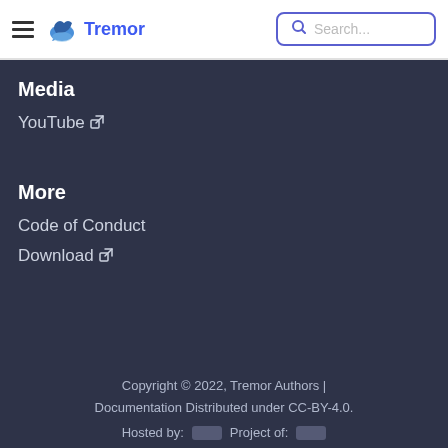Tremor — navigation header with search
Media
YouTube [external link]
More
Code of Conduct
Download [external link]
Copyright © 2022, Tremor Authors | Documentation Distributed under CC-BY-4.0. Hosted by: [logo] Project of: [logo]